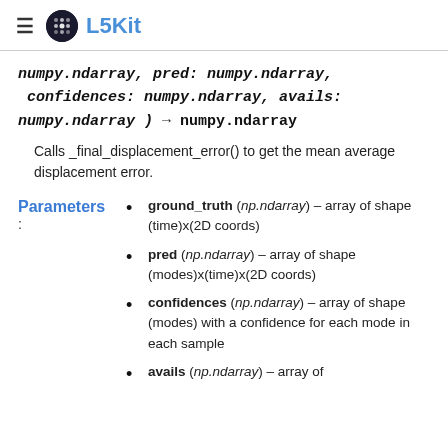L5Kit
numpy.ndarray, pred: numpy.ndarray, confidences: numpy.ndarray, avails: numpy.ndarray) → numpy.ndarray
Calls _final_displacement_error() to get the mean average displacement error.
Parameters
ground_truth (np.ndarray) – array of shape (time)x(2D coords)
pred (np.ndarray) – array of shape (modes)x(time)x(2D coords)
confidences (np.ndarray) – array of shape (modes) with a confidence for each mode in each sample
avails (np.ndarray) – array of